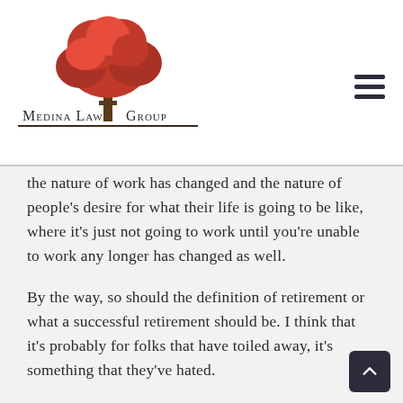[Figure (logo): Medina Law Group logo with red tree above text]
the nature of work has changed and the nature of people's desire for what their life is going to be like, where it's just not going to work until you're unable to work any longer has changed as well.
By the way, so should the definition of retirement or what a successful retirement should be. I think that it's probably for folks that have toiled away, it's something that they've hated.
The idea of being a retired and not having to work probably may be very attractive, but if